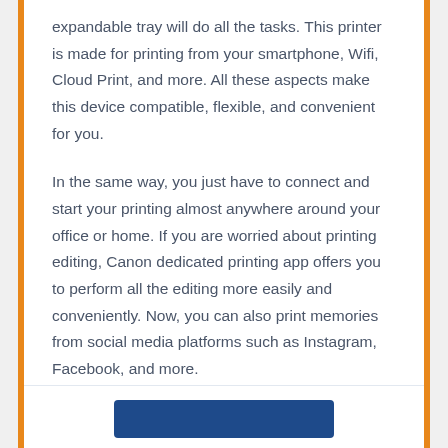expandable tray will do all the tasks. This printer is made for printing from your smartphone, Wifi, Cloud Print, and more. All these aspects make this device compatible, flexible, and convenient for you.
In the same way, you just have to connect and start your printing almost anywhere around your office or home. If you are worried about printing editing, Canon dedicated printing app offers you to perform all the editing more easily and conveniently. Now, you can also print memories from social media platforms such as Instagram, Facebook, and more.